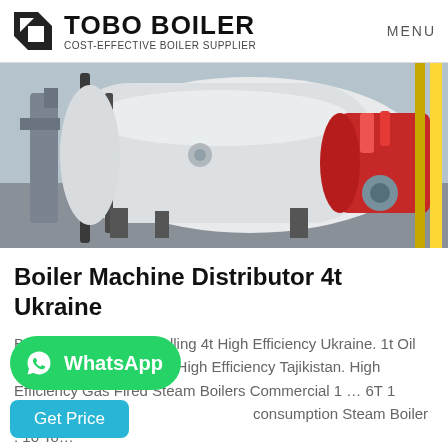TOBO BOILER — COST-EFFECTIVE BOILER SUPPLIER | MENU
[Figure (photo): Industrial boiler equipment in a facility — large white cylindrical boiler body with piping on the left, and a red burner/motor unit on the right side, on a concrete floor.]
Boiler Machine Distributor 4t Ukraine
Boiler Machine Best Selling 4t High Efficiency Ukraine. 1t Oil Boiler Machine Supplier High Efficiency Tajikistan. High Efficiency Gas Fired Steam Boilers Commercial 1 … 6T 1 consumption Steam Boiler . 10 To…
WhatsApp
Get Price